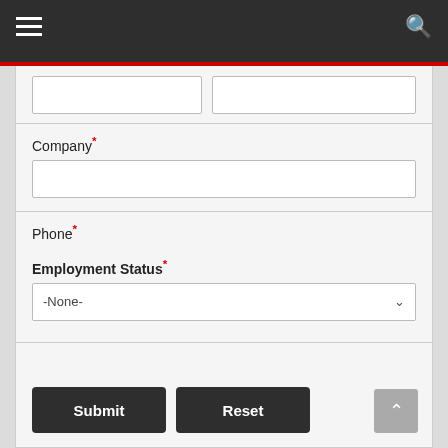Navigation header with hamburger menu and search icon
Company*
Phone*
Email*
State*
Employment Status*
Submit
Reset